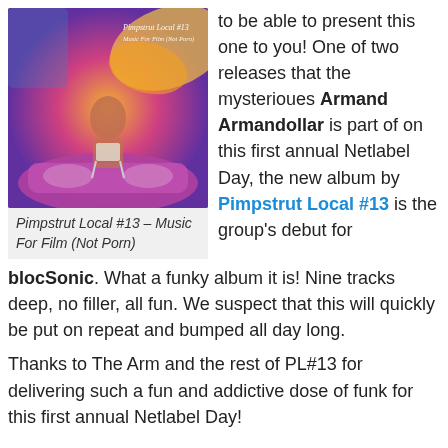[Figure (photo): Album cover for Pimpstrut Local #13 - Music For Film (Not Porn), showing a stylized figure on a vintage car with colorful abstract background]
Pimpstrut Local #13 – Music For Film (Not Porn)
to be able to present this one to you! One of two releases that the mysterioues Armand Armandollar is part of on this first annual Netlabel Day, the new album by Pimpstrut Local #13 is the group's debut for blocSonic. What a funky album it is! Nine tracks deep, no filler, all fun. We suspect that this will quickly be put on repeat and bumped all day long.
Thanks to The Arm and the rest of PL#13 for delivering such a fun and addictive dose of funk for this first annual Netlabel Day!